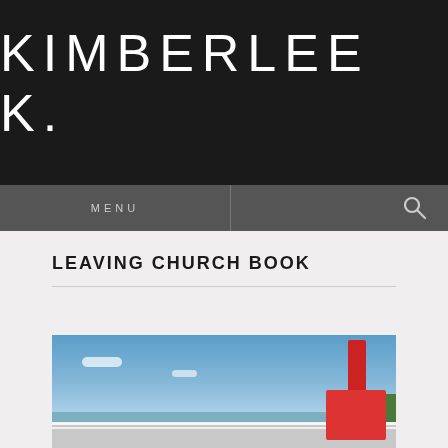KIMBERLEE K.
MENU
LEAVING CHURCH BOOK
[Figure (photo): Outdoor photo taken on a boat or ferry deck showing blue sky with scattered clouds, a body of water in the background, green hills on the right, white railings, and a red structure on the right side of the frame.]